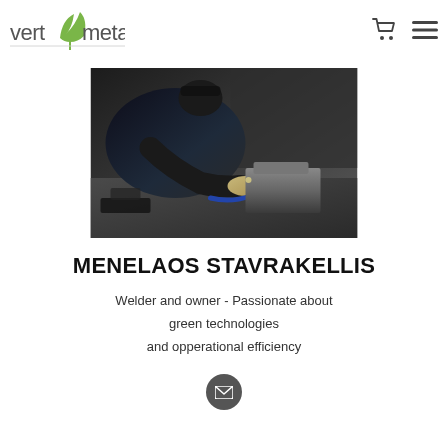vert metal
[Figure (photo): A welder in dark workshop clothes and cap, leaning over a metal workpiece on a table, working with welding equipment in a dark industrial environment.]
MENELAOS STAVRAKELLIS
Welder and owner - Passionate about green technologies and opperational efficiency